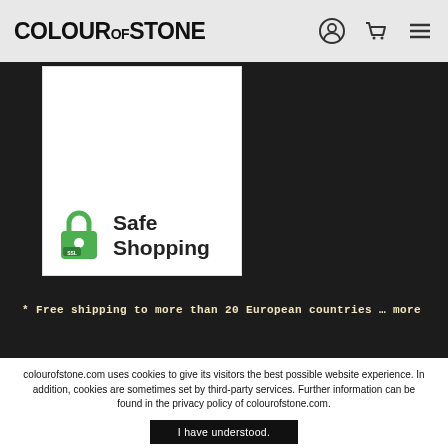COLOUR of STONE
[Figure (screenshot): White card with SSL padlock icon and 'Safe Shopping' text in dark green/black, shown against dark background with 'Service' watermark text visible]
* Free shipping to more than 20 European countries … more
colourofstone.com uses cookies to give its visitors the best possible website experience. In addition, cookies are sometimes set by third-party services. Further information can be found in the privacy policy of colourofstone.com.
I have understood.